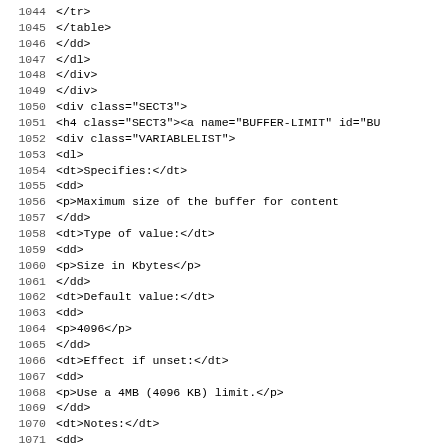Code listing lines 1044-1075 showing XML/HTML source code for a SECT3 div containing a VARIABLELIST with BUFFER-LIMIT configuration documentation
| Line | Code |
| --- | --- |
| 1044 |                 </tr> |
| 1045 |             </table> |
| 1046 |           </dd> |
| 1047 |         </dl> |
| 1048 |       </div> |
| 1049 |     </div> |
| 1050 |     <div class="SECT3"> |
| 1051 |       <h4 class="SECT3"><a name="BUFFER-LIMIT" id="BU |
| 1052 |       <div class="VARIABLELIST"> |
| 1053 |         <dl> |
| 1054 |           <dt>Specifies:</dt> |
| 1055 |           <dd> |
| 1056 |             <p>Maximum size of the buffer for content |
| 1057 |           </dd> |
| 1058 |           <dt>Type of value:</dt> |
| 1059 |           <dd> |
| 1060 |             <p>Size in Kbytes</p> |
| 1061 |           </dd> |
| 1062 |           <dt>Default value:</dt> |
| 1063 |           <dd> |
| 1064 |             <p>4096</p> |
| 1065 |           </dd> |
| 1066 |           <dt>Effect if unset:</dt> |
| 1067 |           <dd> |
| 1068 |             <p>Use a 4MB (4096 KB) limit.</p> |
| 1069 |           </dd> |
| 1070 |           <dt>Notes:</dt> |
| 1071 |           <dd> |
| 1072 |             <p>For content filtering, i.e. the <tt cl |
| 1073 |             "LITERAL">+deanimate-gif</tt> actions, it |
| 1074 |             buffers the entire document body. This ca |
| 1075 |             sending data indefinitely and wait for yo |